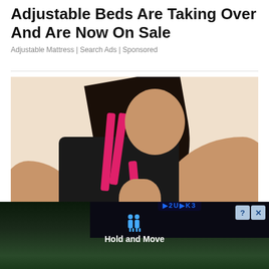Adjustable Beds Are Taking Over And Are Now On Sale
Adjustable Mattress | Search Ads | Sponsored
[Figure (photo): Woman in black and pink sports bra holding her chest, appearing to be in pain or discomfort, against a light beige background.]
Metastatic Cancer Symptoms  Some May
[Figure (screenshot): Ad overlay at the bottom showing a dark interface with 'Hold and Move' text and icons, with blue question mark and X close buttons in top right corner.]